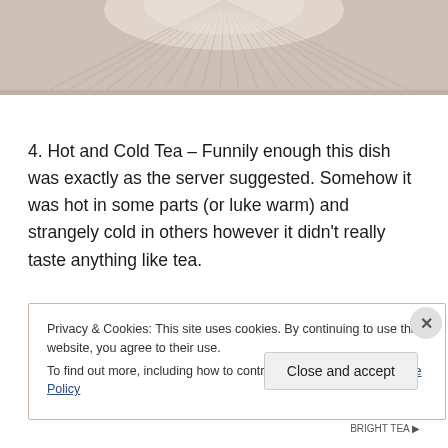[Figure (photo): Top portion of a ceramic bowl or dish showing ribbed/pleated texture in warm beige/cream tones, cropped to show only the upper rim area.]
4. Hot and Cold Tea – Funnily enough this dish was exactly as the server suggested. Somehow it was hot in some parts (or luke warm) and strangely cold in others however it didn't really taste anything like tea.
Privacy & Cookies: This site uses cookies. By continuing to use this website, you agree to their use.
To find out more, including how to control cookies, see here: Cookie Policy
Close and accept